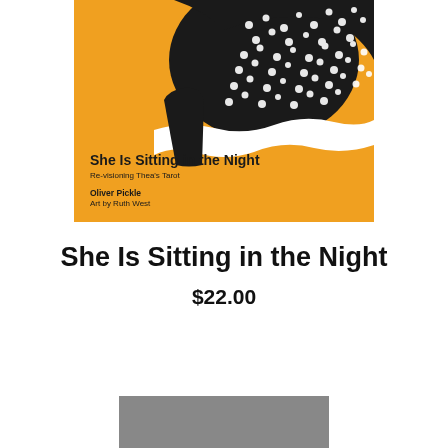[Figure (illustration): Book cover with orange background. Top portion shows a black and white illustration of a figure with dotted/patterned textile. Lower portion shows title 'She Is Sitting in the Night', subtitle 'Re-visioning Thea's Tarot', author 'Oliver Pickle', and 'Art by Ruth West'.]
She Is Sitting in the Night
$22.00
[Figure (other): Gray rectangle at the bottom of the page, partially visible.]